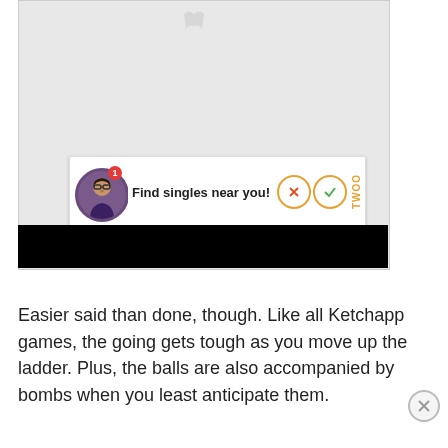[Figure (screenshot): Screenshot of a mobile app (WhatsApp-like) with a dating advertisement banner showing 'Find singles near you!' from Twoo, with profile photo, X and checkmark buttons, and a black bar below.]
Easier said than done, though. Like all Ketchapp games, the going gets tough as you move up the ladder. Plus, the balls are also accompanied by bombs when you least anticipate them.